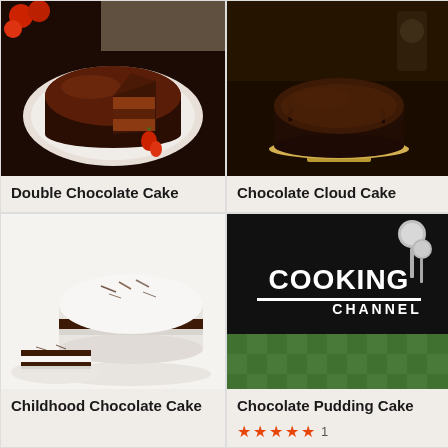[Figure (photo): Double Chocolate Cake - a dark chocolate layered cake with glossy chocolate ganache, slice cut out, strawberry garnish on white plate, strawberries in background]
Double Chocolate Cake
[Figure (photo): Chocolate Cloud Cake - a dark round chocolate cake on a cake stand, dark moody background with kitchen items]
Chocolate Cloud Cake
[Figure (photo): Childhood Chocolate Cake - two-layer chocolate cake with white cream frosting and chocolate shavings on top, slice on small plate, white background]
Childhood Chocolate Cake
[Figure (photo): Cooking Channel logo on dark background with green checkered cloth and measuring spoons]
Chocolate Pudding Cake
★★★★★ 1